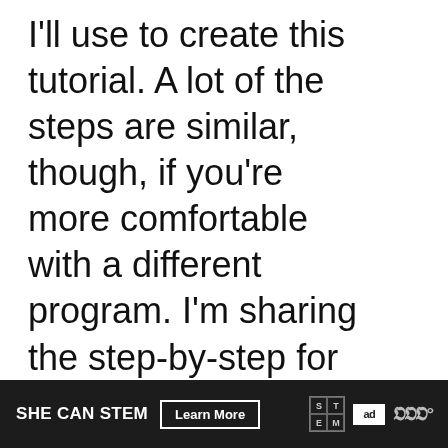I'll use to create this tutorial. A lot of the steps are similar, though, if you're more comfortable with a different program. I'm sharing the step-by-step for two printables with you today, so let's get started.
ADVERTISEMENT
[Figure (other): What's Next panel with thumbnail and text: home goals printable {wi...]
[Figure (other): SHE CAN STEM advertisement footer bar with Learn More button, STEM logo, ad council logo, and WW logo]